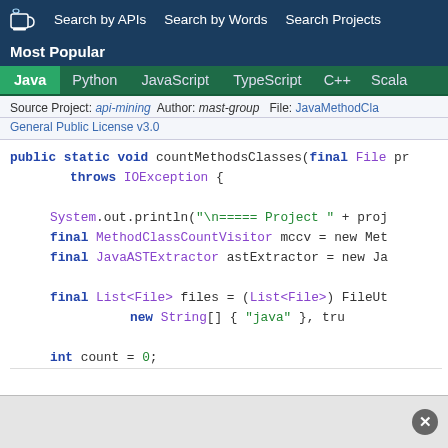Search by APIs   Search by Words   Search Projects
Most Popular
Java  Python  JavaScript  TypeScript  C++  Scala
Source Project: api-mining  Author: mast-group  File: JavaMethodCla...
General Public License v3.0
public static void countMethodsClasses(final File pr
    throws IOException {

    System.out.println("\n===== Project " + proj
    final MethodClassCountVisitor mccv = new Met
    final JavaASTExtractor astExtractor = new Ja

    final List<File> files = (List<File>) FileUt
            new String[] { "java" }, tru

    int count = 0;
    ...